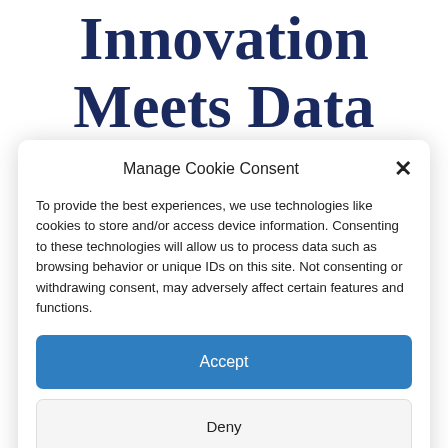Innovation Meets Data
Manage Cookie Consent
To provide the best experiences, we use technologies like cookies to store and/or access device information. Consenting to these technologies will allow us to process data such as browsing behavior or unique IDs on this site. Not consenting or withdrawing consent, may adversely affect certain features and functions.
Accept
Deny
View preferences
Privacy Discalimer